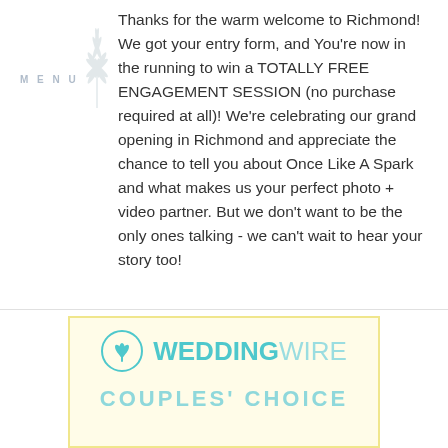Thanks for the warm welcome to Richmond! We got your entry form, and You're now in the running to win a TOTALLY FREE ENGAGEMENT SESSION (no purchase required at all)! We're celebrating our grand opening in Richmond and appreciate the chance to tell you about Once Like A Spark and what makes us your perfect photo + video partner. But we don't want to be the only ones talking - we can't wait to hear your story too!
[Figure (logo): WeddingWire logo with teal circular icon and COUPLES' CHOICE text below]